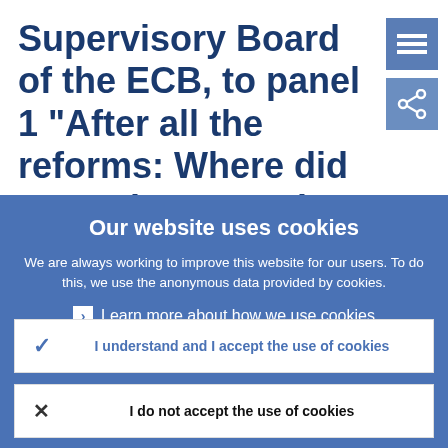Supervisory Board of the ECB, to panel 1 "After all the reforms: Where did we end up?" at the 6th Frankfurt
[Figure (other): Hamburger menu icon — three horizontal white lines on blue background]
[Figure (other): Share icon — network/share symbol on blue background]
Our website uses cookies
We are always working to improve this website for our users. To do this, we use the anonymous data provided by cookies.
› Learn more about how we use cookies
✓ I understand and I accept the use of cookies
✕ I do not accept the use of cookies